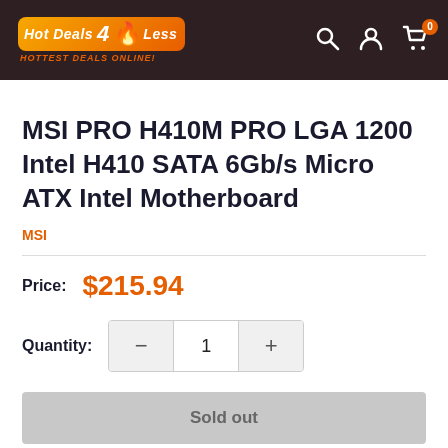Hot Deals 4 Less – HOTTEST DEALS ONLINE!
MSI PRO H410M PRO LGA 1200 Intel H410 SATA 6Gb/s Micro ATX Intel Motherboard
MSI
Price: $215.94
Quantity: 1
Sold out